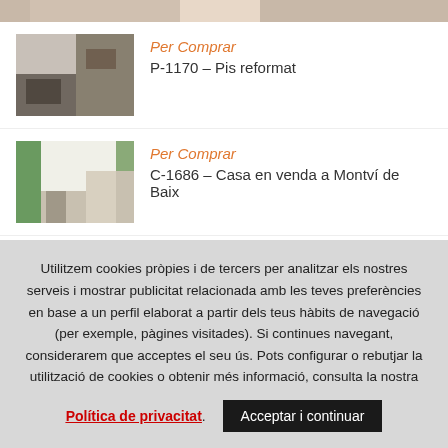[Figure (photo): Partial top strip of a property photo]
[Figure (photo): Interior photo of a reformed apartment (P-1170)]
Per Comprar
P-1170 – Pis reformat
[Figure (photo): Exterior photo of a house at Montvi de Baix (C-1686)]
Per Comprar
C-1686 – Casa en venda a Montví de Baix
[Figure (photo): Interior photo of a reformed village house (C-1690)]
Per Comprar
C-1690 – Casa de poble reformada en venda a
Utilitzem cookies pròpies i de tercers per analitzar els nostres serveis i mostrar publicitat relacionada amb les teves preferències en base a un perfil elaborat a partir dels teus hàbits de navegació (per exemple, pàgines visitades). Si continues navegant, considerarem que acceptes el seu ús. Pots configurar o rebutjar la utilització de cookies o obtenir més informació, consulta la nostra
Política de privacitat. Acceptar i continuar